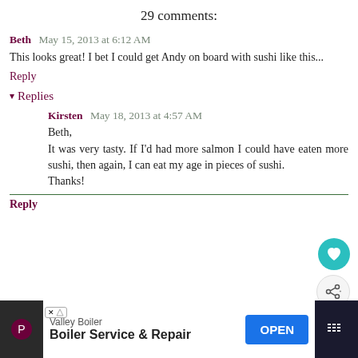29 comments:
Beth May 15, 2013 at 6:12 AM
This looks great! I bet I could get Andy on board with sushi like this...
Reply
▾ Replies
Kirsten May 18, 2013 at 4:57 AM
Beth,
It was very tasty. If I'd had more salmon I could have eaten more sushi, then again, I can eat my age in pieces of sushi.
Thanks!
Reply